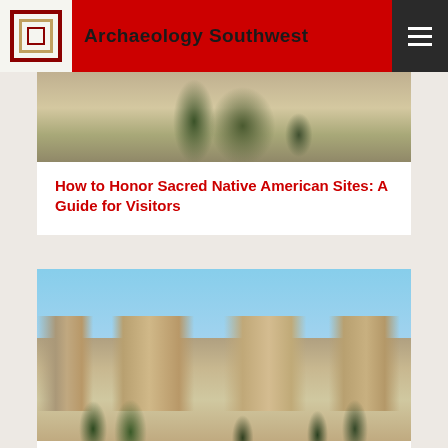Archaeology Southwest
[Figure (photo): Partial photo of a desert landscape with rock formations and juniper trees, sandy/limestone terrain]
How to Honor Sacred Native American Sites: A Guide for Visitors
[Figure (photo): Canyon landscape with blue sky, mesa formations, white/tan cliff walls, and pine/juniper trees in foreground]
Bipartisan Legislation to Protect Objects Sacred to Native Peoples Introduced in Congress